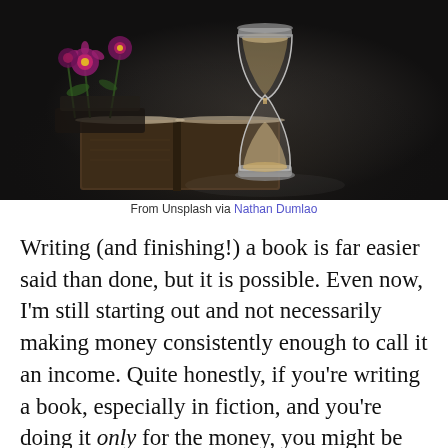[Figure (photo): Dark atmospheric photo of an hourglass on an open book with pink/purple flowers in the background, on a dark background. From Unsplash via Nathan Dumlao.]
From Unsplash via Nathan Dumlao
Writing (and finishing!) a book is far easier said than done, but it is possible. Even now, I'm still starting out and not necessarily making money consistently enough to call it an income. Quite honestly, if you're writing a book, especially in fiction, and you're doing it only for the money, you might be doing it for the wrong reasons – there's